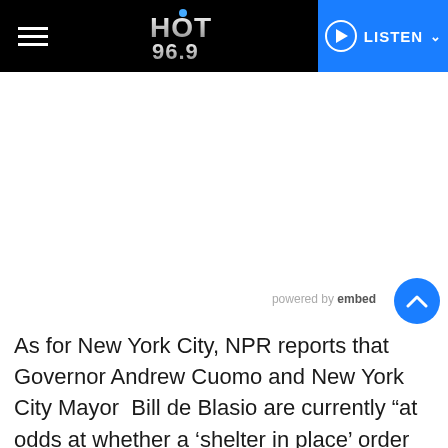HOT 96.9 | LISTEN
powered by embed
As for New York City, NPR reports that Governor Andrew Cuomo and New York City Mayor Bill de Blasio are currently “at odds at whether a ‘shelter in place’ order should be put into effect,” with Mayor de Blasio in favor of